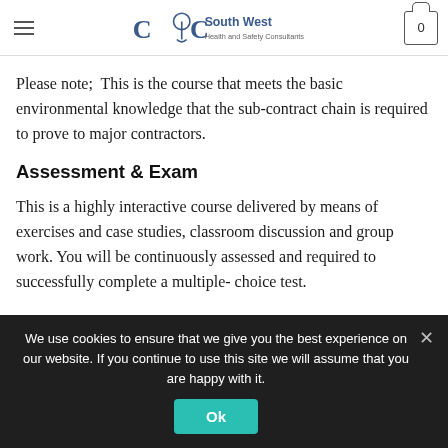CTC South West Health and Safety Consultants
ould be just as... king in construction activities
Please note;  This is the course that meets the basic environmental knowledge that the sub-contract chain is required to prove to major contractors.
Assessment & Exam
This is a highly interactive course delivered by means of exercises and case studies, classroom discussion and group work. You will be continuously assessed and required to successfully complete a multiple- choice test.
We use cookies to ensure that we give you the best experience on our website. If you continue to use this site we will assume that you are happy with it.